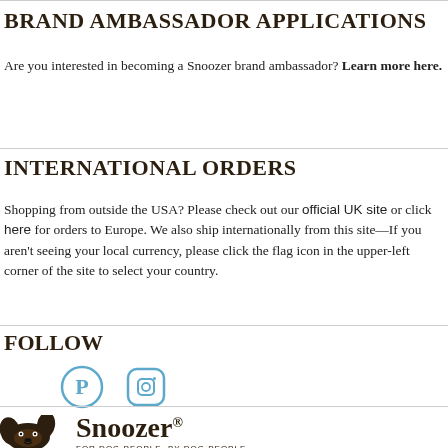BRAND AMBASSADOR APPLICATIONS
Are you interested in becoming a Snoozer brand ambassador? Learn more here.
INTERNATIONAL ORDERS
Shopping from outside the USA? Please check out our official UK site or click here for orders to Europe. We also ship internationally from this site—If you aren't seeing your local currency, please click the flag icon in the upper-left corner of the site to select your country.
FOLLOW
[Figure (logo): Pinterest and Instagram social media icons]
[Figure (logo): Snoozer dog logo with dog face illustration and Snoozer brand name with tagline FOR DOG PEOPLE, BY DOG PEOPLE]